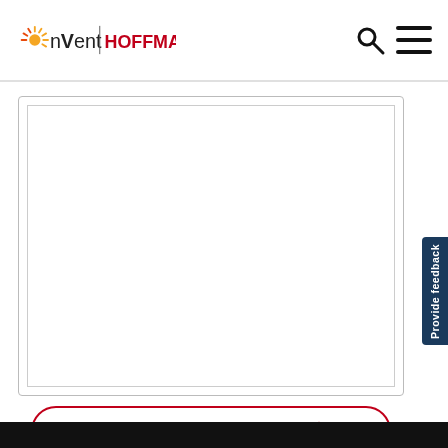nVent | HOFFMAN
[Figure (other): Empty white content card with inner border, representing a document preview area]
LOG IN TO DOWNLOAD
Provide feedback